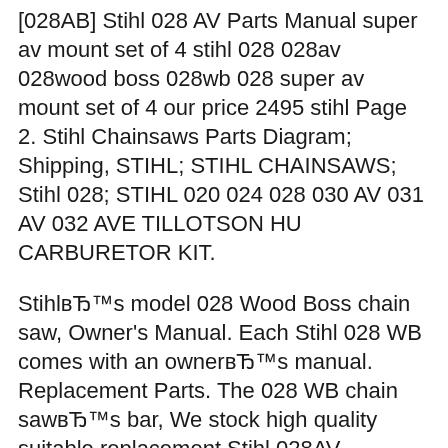[028АВ] Stihl 028 AV Parts Manual super av mount set of 4 stihl 028 028av 028wood boss 028wb 028 super av mount set of 4 our price 2495 stihl Page 2. Stihl Chainsaws Parts Diagram; Shipping, STIHL; STIHL CHAINSAWS; Stihl 028; STIHL 020 024 028 030 AV 031 AV 032 AVE TILLOTSON HU CARBURETOR KIT.
StihlвЂ™s model 028 Wood Boss chain saw, Owner's Manual. Each Stihl 028 WB comes with an ownerвЂ™s manual. Replacement Parts. The 028 WB chain sawвЂ™s bar, We stock high quality suitable replacement Stihl 028AV Chainsaw Parts. Stihl 028AV Chainsaw Parts - Suitable 028 SUPER AV MOUNT